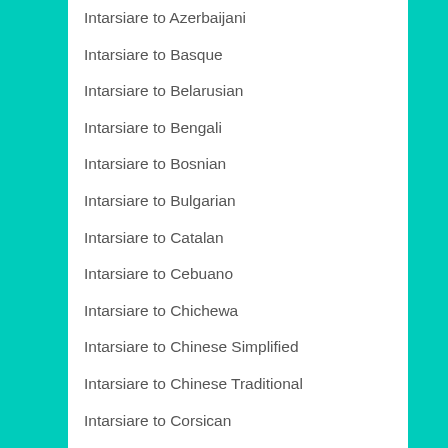Intarsiare to Azerbaijani
Intarsiare to Basque
Intarsiare to Belarusian
Intarsiare to Bengali
Intarsiare to Bosnian
Intarsiare to Bulgarian
Intarsiare to Catalan
Intarsiare to Cebuano
Intarsiare to Chichewa
Intarsiare to Chinese Simplified
Intarsiare to Chinese Traditional
Intarsiare to Corsican
Intarsiare to Croatian
Intarsiare to Czech